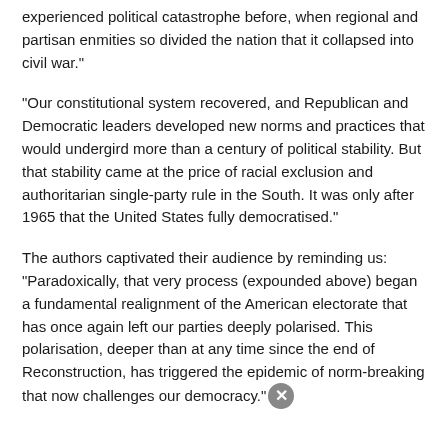experienced political catastrophe before, when regional and partisan enmities so divided the nation that it collapsed into civil war."
"Our constitutional system recovered, and Republican and Democratic leaders developed new norms and practices that would undergird more than a century of political stability. But that stability came at the price of racial exclusion and authoritarian single-party rule in the South. It was only after 1965 that the United States fully democratised."
The authors captivated their audience by reminding us: "Paradoxically, that very process (expounded above) began a fundamental realignment of the American electorate that has once again left our parties deeply polarised. This polarisation, deeper than at any time since the end of Reconstruction, has triggered the epidemic of norm-breaking that now challenges our democracy."